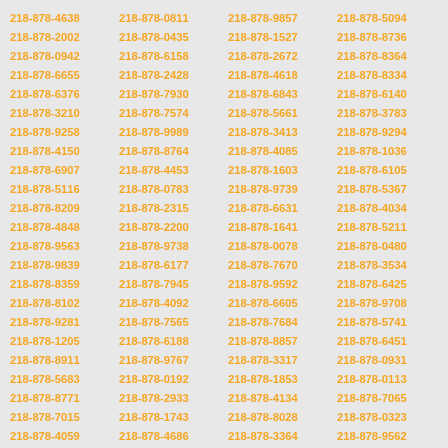218-878-4638 218-878-0811 218-878-9857 218-878-5094 218-878-2002 218-878-0435 218-878-1527 218-878-8736 218-878-0942 218-878-6158 218-878-2672 218-878-8364 218-878-6655 218-878-2428 218-878-4618 218-878-8334 218-878-6376 218-878-7930 218-878-6843 218-878-6140 218-878-3210 218-878-7574 218-878-5661 218-878-3783 218-878-9258 218-878-9989 218-878-3413 218-878-9294 218-878-4150 218-878-8764 218-878-4085 218-878-1036 218-878-6907 218-878-4453 218-878-1603 218-878-6105 218-878-5116 218-878-0783 218-878-9739 218-878-5367 218-878-8209 218-878-2315 218-878-6631 218-878-4034 218-878-4848 218-878-2200 218-878-1641 218-878-5211 218-878-9563 218-878-9738 218-878-0078 218-878-0480 218-878-9839 218-878-6177 218-878-7670 218-878-3534 218-878-8359 218-878-7945 218-878-9592 218-878-6425 218-878-8102 218-878-4092 218-878-6605 218-878-9708 218-878-9281 218-878-7565 218-878-7684 218-878-5741 218-878-1205 218-878-6188 218-878-8857 218-878-6451 218-878-8911 218-878-9767 218-878-3317 218-878-0931 218-878-5683 218-878-0192 218-878-1853 218-878-0113 218-878-8771 218-878-2933 218-878-4134 218-878-7065 218-878-7015 218-878-1743 218-878-8028 218-878-0323 218-878-4059 218-878-4686 218-878-3364 218-878-9562 218-878-1534 218-878-7778 218-878-2887 218-878-4987 218-878-7947 218-878-7942 218-878-7567 218-878-6085 218-878-9856 218-878-3712 218-878-9286 218-878-9107 218-878-4128 218-878-9901 218-878-7070 218-878-3854 218-878-8280 218-878-1176 218-878-2244 218-878-5903 218-878-4226 218-878-6935 218-878-4827 218-878-6548 218-878-1576 218-878-8955 218-878-2682 218-878-4990